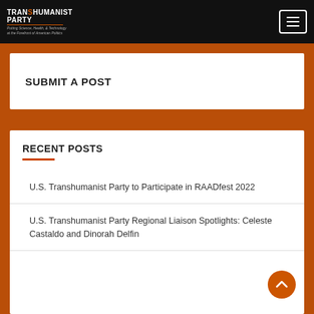Transhumanist Party — Putting Science, Health, & Technology at the Forefront of American Politics
SUBMIT A POST
RECENT POSTS
U.S. Transhumanist Party to Participate in RAADfest 2022
U.S. Transhumanist Party Regional Liaison Spotlights: Celeste Castaldo and Dinorah Delfin